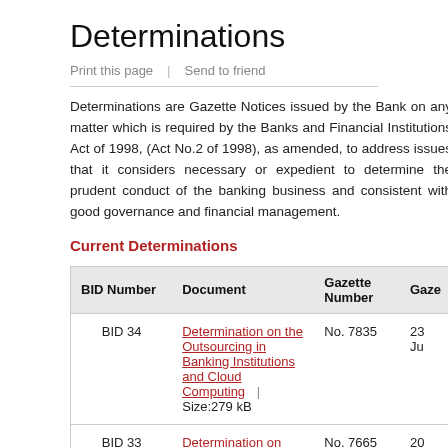Determinations
Print this page | Send to friend
Determinations are Gazette Notices issued by the Bank on any matter which is required by the Banks and Financial Institutions Act of 1998, (Act No.2 of 1998), as amended, to address issues that it considers necessary or expedient to determine the prudent conduct of the banking business and consistent with the good governance and financial management.
Current Determinations
| BID Number | Document | Gazette Number | Gaze... |
| --- | --- | --- | --- |
| BID 34 | Determination on the Outsourcing in Banking Institutions and Cloud Computing   |   Size:279 kB | No. 7835 | 23 Ju... |
| BID 33
Amendments | Determination on policy changes in response to economic and financial stability challenges as a result of the COVID-19 Pandemic   |   Size:224 kB | No. 7665 | 20 ... |